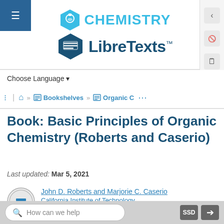[Figure (logo): Chemistry LibreTexts logo with hexagonal icons and text]
Choose Language ▾
Home » Bookshelves » Organic C …
Book: Basic Principles of Organic Chemistry (Roberts and Caserio)
Last updated: Mar 5, 2021
John D. Roberts and Marjorie C. Caserio
California Institute of Technology